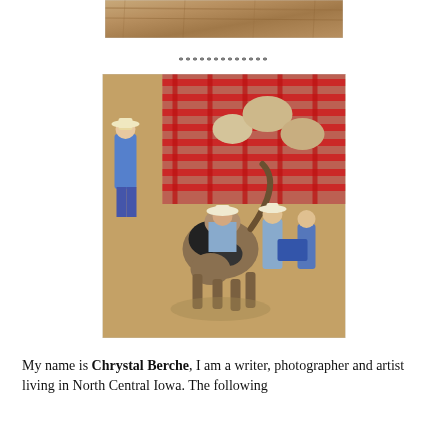[Figure (photo): Partial photo at top of page showing brown dirt/earth surface, cropped]
*************
[Figure (photo): Rodeo scene photographed from above: a bull rider on a black and white bull, with rodeo clowns and workers nearby, red metal chute fences in background, sandy arena dirt floor]
My name is Chrystal Berche, I am a writer, photographer and artist living in North Central Iowa. The following